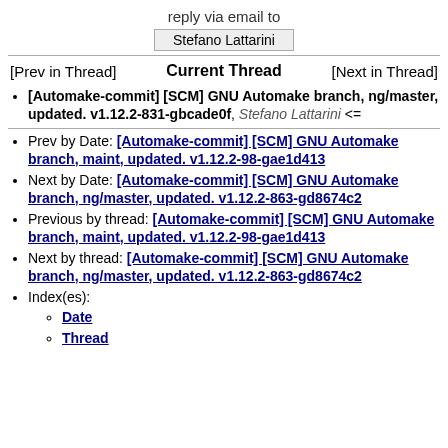reply via email to
Stefano Lattarini
[Prev in Thread]    Current Thread    [Next in Thread]
[Automake-commit] [SCM] GNU Automake branch, ng/master, updated. v1.12.2-831-gbcade0f, Stefano Lattarini <=
Prev by Date: [Automake-commit] [SCM] GNU Automake branch, maint, updated. v1.12.2-98-gae1d413
Next by Date: [Automake-commit] [SCM] GNU Automake branch, ng/master, updated. v1.12.2-863-gd8674c2
Previous by thread: [Automake-commit] [SCM] GNU Automake branch, maint, updated. v1.12.2-98-gae1d413
Next by thread: [Automake-commit] [SCM] GNU Automake branch, ng/master, updated. v1.12.2-863-gd8674c2
Index(es):
Date
Thread